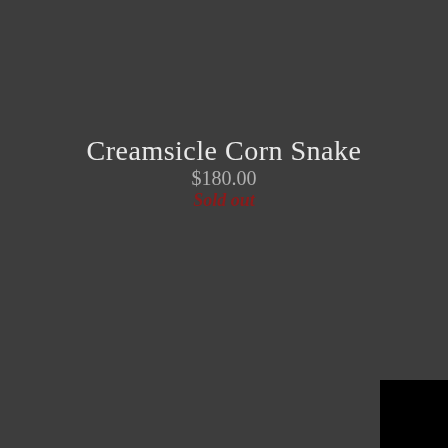Creamsicle Corn Snake
$180.00
Sold out